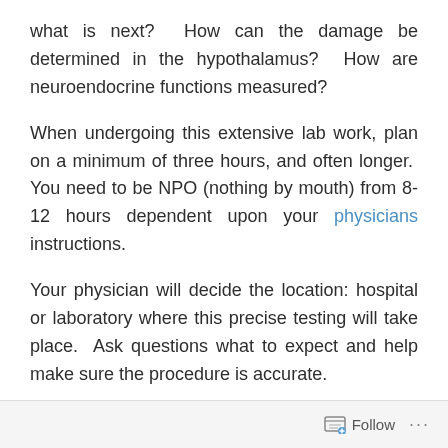what is next?  How can the damage be determined in the hypothalamus?  How are neuroendocrine functions measured?
When undergoing this extensive lab work, plan on a minimum of three hours, and often longer.  You need to be NPO (nothing by mouth) from 8-12 hours dependent upon your physicians instructions.
Your physician will decide the location: hospital or laboratory where this precise testing will take place.  Ask questions what to expect and help make sure the procedure is accurate.
An intravenous line will be started to inject Arginine. Before starting Arginine a baseline serum (blood draw) for
Follow ···